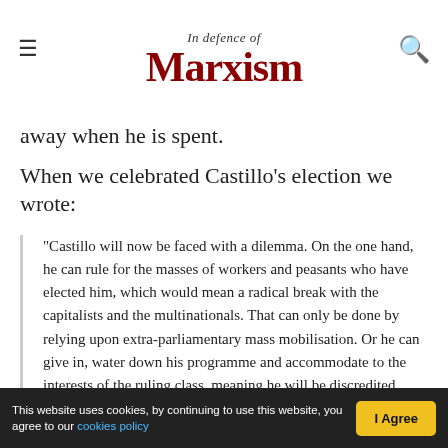In Defence of Marxism
away when he is spent.
When we celebrated Castillo's election we wrote:
“Castillo will now be faced with a dilemma. On the one hand, he can rule for the masses of workers and peasants who have elected him, which would mean a radical break with the capitalists and the multinationals. That can only be done by relying upon extra-parliamentary mass mobilisation. Or he can give in, water down his programme and accommodate to the interests of the ruling class, meaning he will be discredited among those who have voted for him, preparing his own downfall. If he attempts to serve two masters (the workers and the capitalists) at the same time he will please neither. ” (Peru:
This website uses cookies, by continuing to use this website, you agree to our cookies policy | I Agree